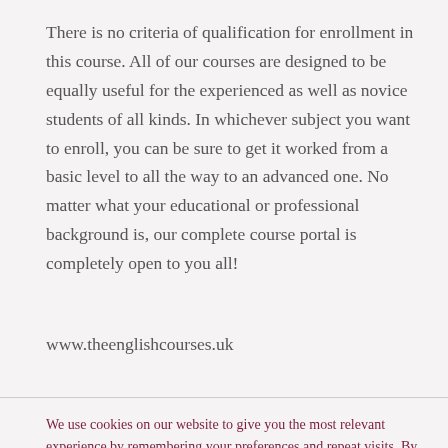There is no criteria of qualification for enrollment in this course. All of our courses are designed to be equally useful for the experienced as well as novice students of all kinds. In whichever subject you want to enroll, you can be sure to get it worked from a basic level to all the way to an advanced one. No matter what your educational or professional background is, our complete course portal is completely open to you all!
www.theenglishcourses.uk
We use cookies on our website to give you the most relevant experience by remembering your preferences and repeat visits. By clicking “Accept”, you consent to the use of ALL the cookies.
Cookie settings
ACCEPT